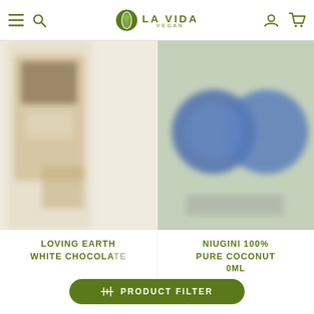La Vida Vegan
[Figure (photo): Blurry product image of Loving Earth White Chocolate package in brown kraft paper bag]
[Figure (photo): Blurry product image of Niugini 100% Pure Coconut product showing two blue circular items]
LOVING EARTH WHITE CHOCOLATE
NIUGINI 100% PURE COCONUT 0ml
PRODUCT FILTER